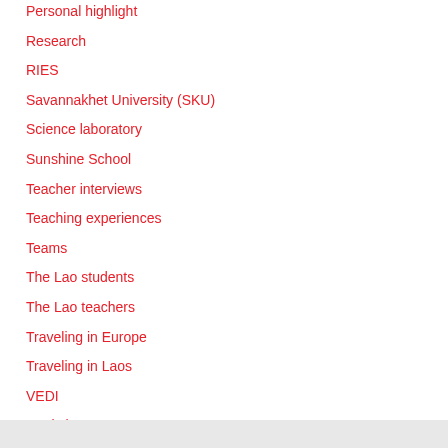Personal highlight
Research
RIES
Savannakhet University (SKU)
Science laboratory
Sunshine School
Teacher interviews
Teaching experiences
Teams
The Lao students
The Lao teachers
Traveling in Europe
Traveling in Laos
VEDI
Workshops